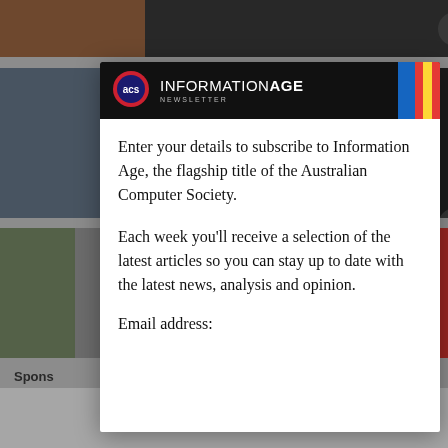[Figure (screenshot): Background webpage showing news articles with images about STEM education and a modal newsletter signup overlay for Information Age by ACS]
Has STEM education lost its way?
[Figure (logo): ACS Information Age Newsletter banner with colorful stripes]
Enter your details to subscribe to Information Age, the flagship title of the Australian Computer Society.
Each week you'll receive a selection of the latest articles so you can stay up to date with the latest news, analysis and opinion.
Email address: